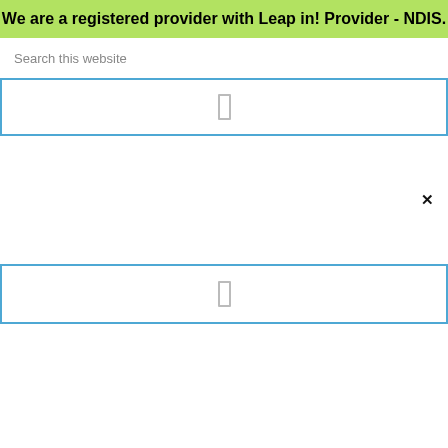We are a registered provider with Leap in! Provider - NDIS.
Search this website
[Figure (screenshot): Blue-bordered box with a small bracket/rectangle icon in the center]
[Figure (screenshot): White area with an X close button on the right side]
[Figure (screenshot): Blue-bordered box with a small bracket/rectangle icon in the center]